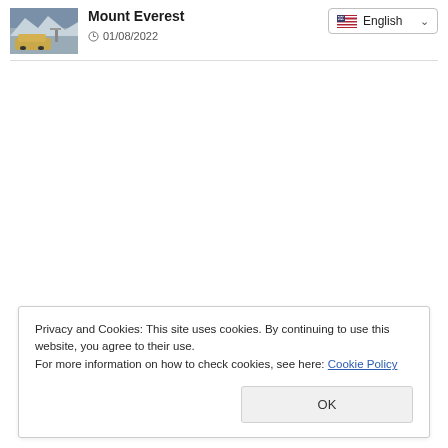[Figure (photo): Thumbnail image of a vehicle near Mount Everest mountainous terrain]
Mount Everest
01/08/2022
English
Privacy and Cookies: This site uses cookies. By continuing to use this website, you agree to their use.
For more information on how to check cookies, see here: Cookie Policy
OK